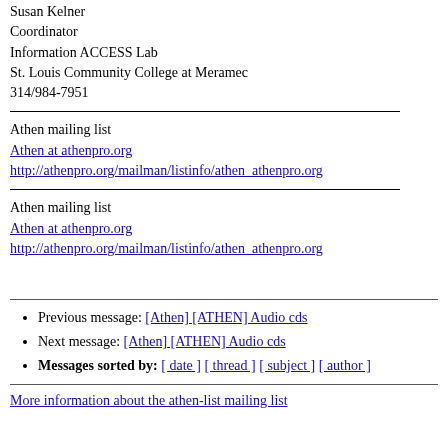Susan Kelner
Coordinator
Information ACCESS Lab
St. Louis Community College at Meramec
314/984-7951
Athen mailing list
Athen at athenpro.org
http://athenpro.org/mailman/listinfo/athen_athenpro.org
Athen mailing list
Athen at athenpro.org
http://athenpro.org/mailman/listinfo/athen_athenpro.org
Previous message: [Athen] [ATHEN] Audio cds
Next message: [Athen] [ATHEN] Audio cds
Messages sorted by: [ date ] [ thread ] [ subject ] [ author ]
More information about the athen-list mailing list